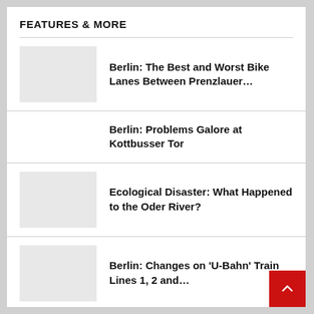FEATURES & MORE
Berlin: The Best and Worst Bike Lanes Between Prenzlauer…
Berlin: Problems Galore at Kottbusser Tor
Ecological Disaster: What Happened to the Oder River?
Berlin: Changes on 'U-Bahn' Train Lines 1, 2 and…